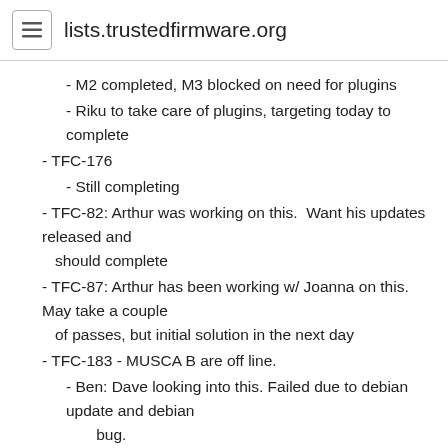lists.trustedfirmware.org
- M2 completed, M3 blocked on need for plugins
- Riku to take care of plugins, targeting today to complete
- TFC-176
- Still completing
- TFC-82: Arthur was working on this.  Want his updates released and should complete
- TFC-87: Arthur has been working w/ Joanna on this.  May take a couple of passes, but initial solution in the next day
- TFC-183 - MUSCA B are off line.
- Ben: Dave looking into this. Failed due to debian update and debian bug.
- Glen: Back it out?
- Ben recommends moving forward and resolving in next sprint (next week). Urgency?
- Anton: Only MUSCA B offline? Preparing for next month